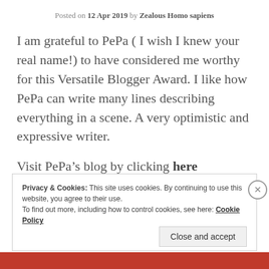Posted on 12 Apr 2019 by Zealous Homo sapiens
I am grateful to PePa ( I wish I knew your real name!) to have considered me worthy for this Versatile Blogger Award. I like how PePa can write many lines describing everything in a scene. A very optimistic and expressive writer.
Visit PePa’s blog by clicking here
WHAT IS THE VERSATILE BLOGGER?
Privacy & Cookies: This site uses cookies. By continuing to use this website, you agree to their use.
To find out more, including how to control cookies, see here: Cookie Policy
Close and accept